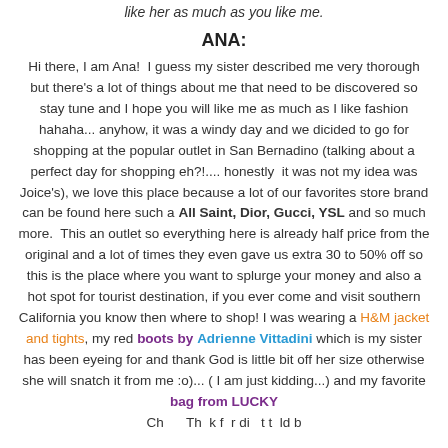like her as much as you like me.
ANA:
Hi there, I am Ana!  I guess my sister described me very thorough but there's a lot of things about me that need to be discovered so stay tune and I hope you will like me as much as I like fashion hahaha... anyhow, it was a windy day and we dicided to go for shopping at the popular outlet in San Bernadino (talking about a perfect day for shopping eh?!.... honestly  it was not my idea was Joice's), we love this place because a lot of our favorites store brand can be found here such a All Saint, Dior, Gucci, YSL and so much more.  This an outlet so everything here is already half price from the original and a lot of times they even gave us extra 30 to 50% off so this is the place where you want to splurge your money and also a hot spot for tourist destination, if you ever come and visit southern California you know then where to shop! I was wearing a H&M jacket and tights, my red boots by Adrienne Vittadini which is my sister has been eyeing for and thank God is little bit off her size otherwise she will snatch it from me :o)... ( I am just kidding...) and my favorite bag from LUCKY
Ch...    Th  k f  di  t t  ld b